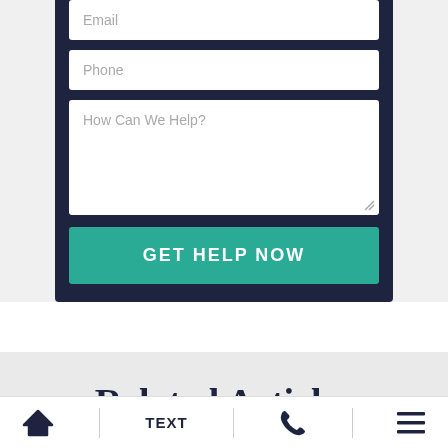[Figure (screenshot): Contact form section with dark navy background containing Email input field, Phone input field, How Can We Help? textarea, and a teal GET HELP NOW button]
Related Articles
[Figure (infographic): Bottom navigation bar with home icon, TEXT label, phone icon, and hamburger menu icon separated by vertical dividers]